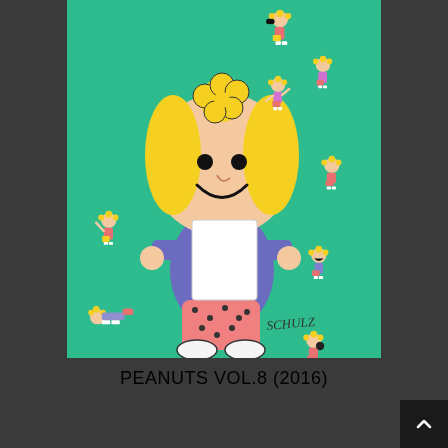[Figure (illustration): Book cover for Peanuts Vol.8 (2016) featuring Sally Brown (Peanuts character) in a large center illustration on a teal/green background, surrounded by multiple smaller poses of Sally in various expressions and outfits. The main large figure shows Sally holding a piece of paper, wearing a purple top and pink polka-dot pants, with her signature blonde curly hair topped with a yellow flower. The Schulz signature appears near the bottom right. Multiple smaller Sally character illustrations surround the main figure in various poses.]
PEANUTS VOL.8 (2016)